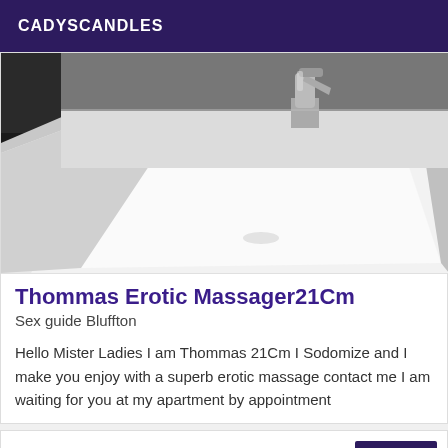CADYSCANDLES
[Figure (photo): Close-up photograph of a white bathroom sink with a chrome faucet, viewed from an angle showing the basin and tap.]
Thommas Erotic Massager21Cm
Sex guide Bluffton
Hello Mister Ladies I am Thommas 21Cm I Sodomize and I make you enjoy with a superb erotic massage contact me I am waiting for you at my apartment by appointment
Verified